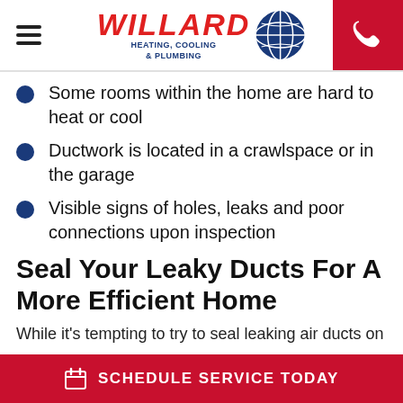[Figure (logo): Willard Heating, Cooling & Plumbing logo with red italic text and blue globe graphic]
Some rooms within the home are hard to heat or cool
Ductwork is located in a crawlspace or in the garage
Visible signs of holes, leaks and poor connections upon inspection
Seal Your Leaky Ducts For A More Efficient Home
While it's tempting to try to seal leaking air ducts on
SCHEDULE SERVICE TODAY